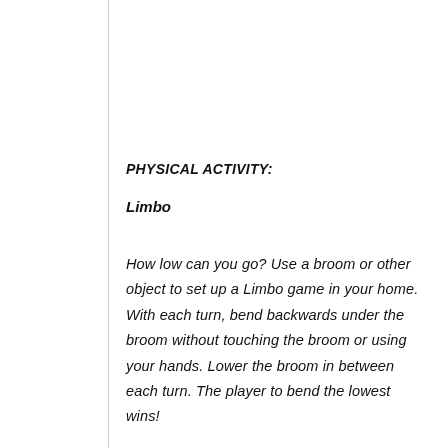PHYSICAL ACTIVITY:
Limbo
How low can you go? Use a broom or other object to set up a Limbo game in your home. With each turn, bend backwards under the broom without touching the broom or using your hands. Lower the broom in between each turn. The player to bend the lowest wins!